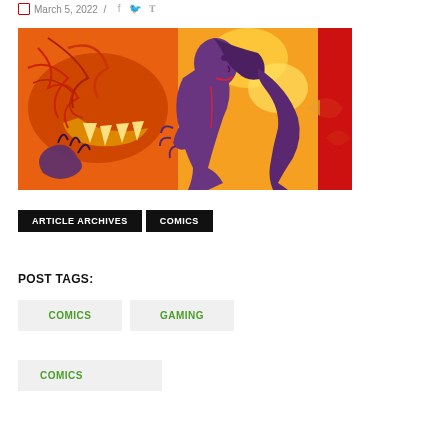March 5, 2022 / [social icons]
[Figure (illustration): Comic book style illustration of a purple/violet woman facing left with her mouth open toward a large orange monster/dragon creature with sharp teeth, set against an orange and yellow fiery background with a red border on the right side.]
ARTICLE ARCHIVES
COMICS
POST TAGS:
COMICS
GAMING